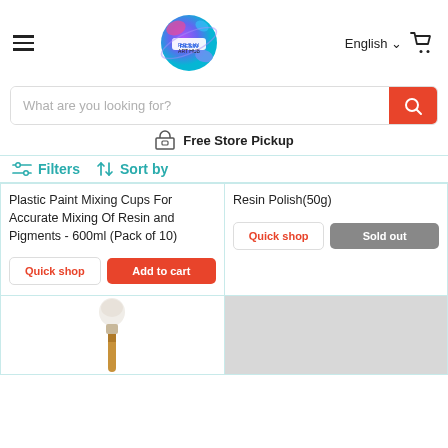Resin Art Hub — English — Cart
What are you looking for?
Free Store Pickup
Filters  Sort by
Plastic Paint Mixing Cups For Accurate Mixing Of Resin and Pigments - 600ml (Pack of 10)
Quick shop  Add to cart
Resin Polish(50g)
Quick shop  Sold out
[Figure (illustration): Brush with white bristles and wooden handle at the bottom of the page]
[Figure (illustration): Gray rectangle placeholder image at the bottom right of the page]